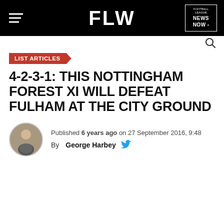FLW
LIST ARTICLES
4-2-3-1: THIS NOTTINGHAM FOREST XI WILL DEFEAT FULHAM AT THE CITY GROUND
Published 6 years ago on 27 September 2016, 9:48 By George Harbey